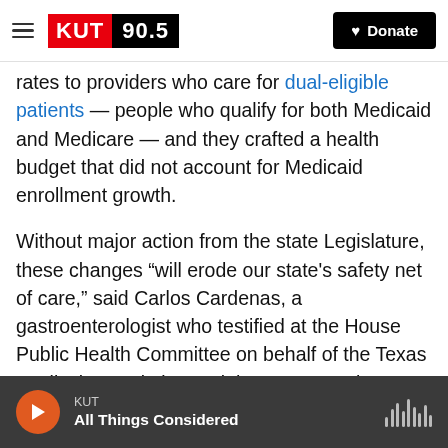KUT 90.5 — Donate
rates to providers who care for dual-eligible patients — people who qualify for both Medicaid and Medicare — and they crafted a health budget that did not account for Medicaid enrollment growth.
Without major action from the state Legislature, these changes “will erode our state's safety net of care,” said Carlos Cardenas, a gastroenterologist who testified at the House Public Health Committee on behalf of the Texas Medical Association and the Texas Border Health Caucus.
Cardenas said physicians have more paperwork
KUT — All Things Considered